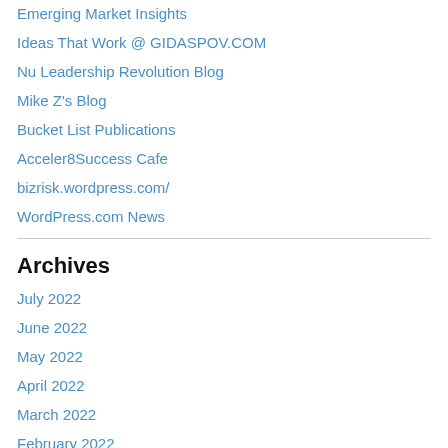Emerging Market Insights
Ideas That Work @ GIDASPOV.COM
Nu Leadership Revolution Blog
Mike Z's Blog
Bucket List Publications
Acceler8Success Cafe
bizrisk.wordpress.com/
WordPress.com News
Archives
July 2022
June 2022
May 2022
April 2022
March 2022
February 2022
November 2021
October 2021